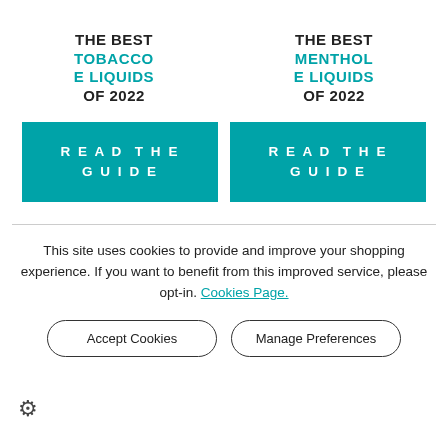THE BEST TOBACCO E LIQUIDS OF 2022
THE BEST MENTHOL E LIQUIDS OF 2022
READ THE GUIDE
READ THE GUIDE
This site uses cookies to provide and improve your shopping experience. If you want to benefit from this improved service, please opt-in. Cookies Page.
Accept Cookies
Manage Preferences